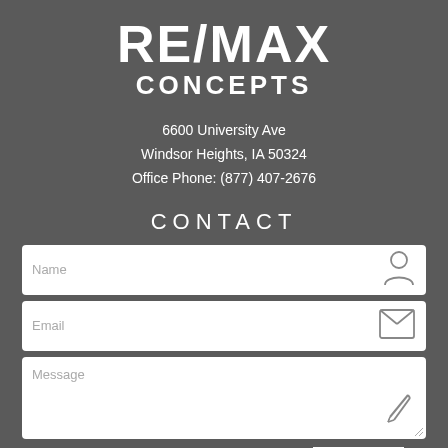RE/MAX CONCEPTS
6600 University Ave
Windsor Heights, IA 50324
Office Phone: (877) 407-2676
CONTACT
[Figure (screenshot): Contact form with Name, Email, and Message fields, each with an icon, and a SEND button]